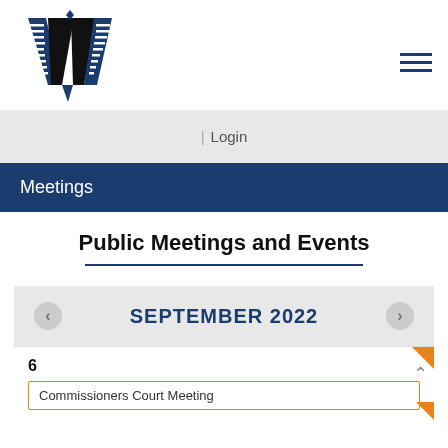[Figure (logo): Stylized blue and black 'W' letter logo for a government county website]
| Login
Meetings
Public Meetings and Events
SEPTEMBER 2022
6
Commissioners Court Meeting